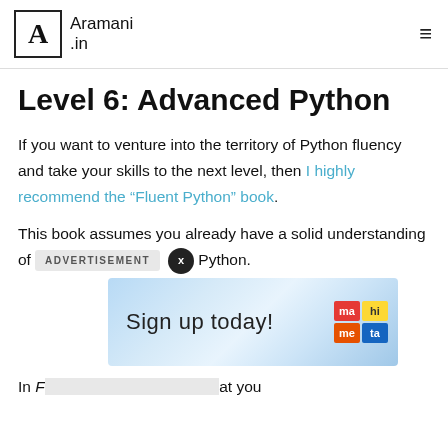Aramani .in
Level 6: Advanced Python
If you want to venture into the territory of Python fluency and take your skills to the next level, then I highly recommend the “Fluent Python” book.
This book assumes you already have a solid understanding of [ADVERTISEMENT] Python.
[Figure (infographic): Advertisement overlay showing 'Sign up today!' text with colorful logos on a blue geometric background]
In F[luent Python, ...] at you